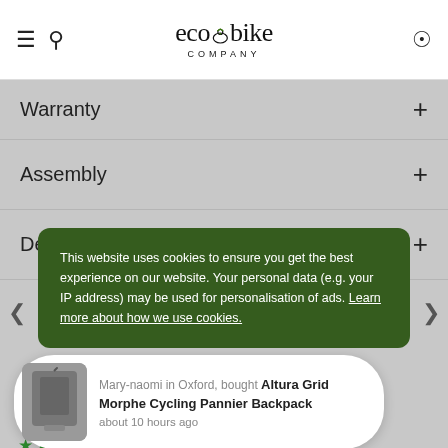ecobike COMPANY
Warranty
Assembly
Delivery and Returns
This website uses cookies to ensure you get the best experience on our website. Your personal data (e.g. your IP address) may be used for personalisation of ads. Learn more about how we use cookies.
Mary-naomi in Oxford, bought Altura Grid Morphe Cycling Pannier Backpack about 10 hours ago